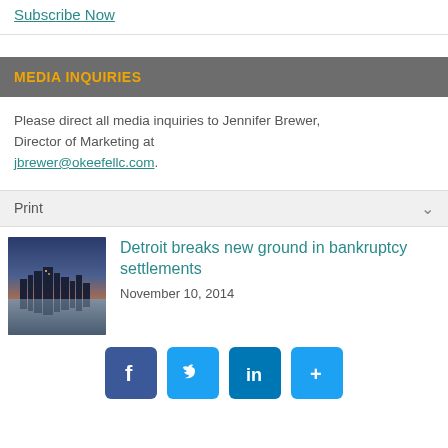Subscribe Now
MEDIA INQUIRIES
Please direct all media inquiries to Jennifer Brewer, Director of Marketing at jbrewer@okeefellc.com.
Print
[Figure (photo): Detroit city skyline at dusk reflected in water]
Detroit breaks new ground in bankruptcy settlements
November 10, 2014
[Figure (infographic): Social share buttons: Facebook, Twitter, LinkedIn, Share]